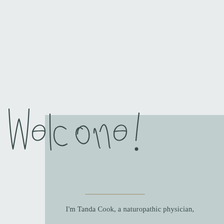Welcome!
I'm Tanda Cook, a naturopathic physician,